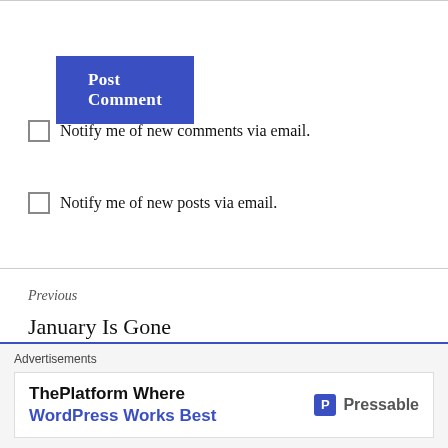[Figure (other): Blue 'Post Comment' button]
Notify me of new comments via email.
Notify me of new posts via email.
Previous
January Is Gone
Next
Weekly Photo Challenge: Unique
[Figure (other): Advertisements banner: ThePlatform Where WordPress Works Best — Pressable]